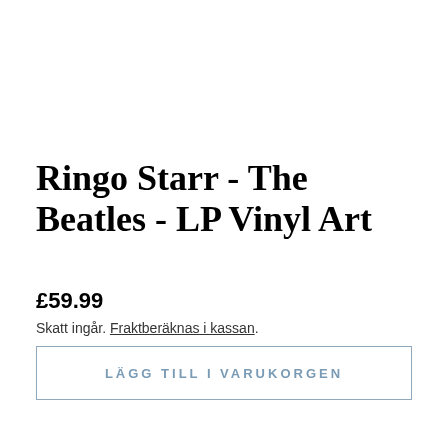Ringo Starr - The Beatles - LP Vinyl Art
£59.99
Skatt ingår. Fraktberäknas i kassan.
LÄGG TILL I VARUKORGEN